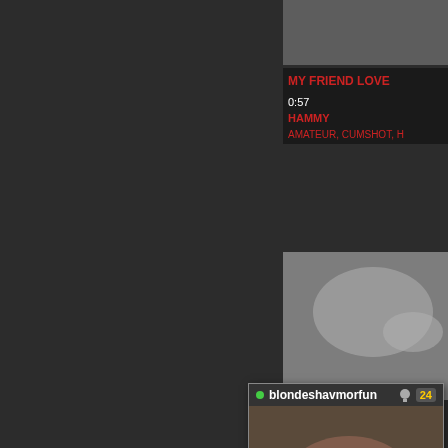[Figure (screenshot): Dark background of a video website interface]
[Figure (screenshot): Right panel showing video thumbnail at top]
MY FRIEND LOVE
0:57
HAMMY
AMATEUR, CUMSHOT, H
[Figure (screenshot): Chaturbate live stream popup window showing blondeshavmorfun with 24 icon, 3 HRS 25 MINS duration, 1016 CURRENT VIEWERS]
LIVE CHAT BOX powered by CHATURBATE:
blondeshavmorfun: I know you do Ben lol
BigBen1665: give it to me NAO! ;)
blondeshavmorfun: any other guys wanna see my fresh brazilian wax??? :O